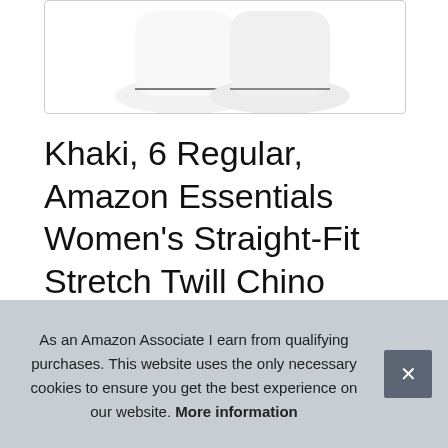[Figure (photo): Product image showing white shoes/pants at the top, partially cropped, inside a bordered box]
Khaki, 6 Regular, Amazon Essentials Women's Straight-Fit Stretch Twill Chino Pant
#ad
[Figure (photo): Row of four product thumbnail images showing khaki chino pants from different angles]
As an Amazon Associate I earn from qualifying purchases. This website uses the only necessary cookies to ensure you get the best experience on our website. More information